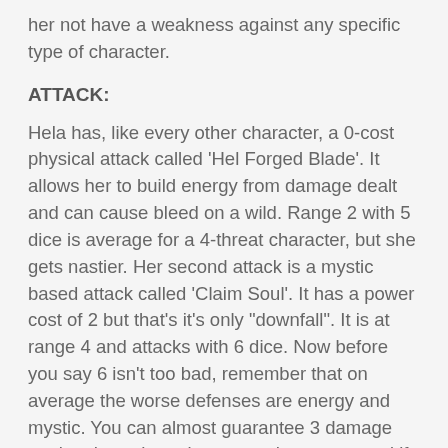her not have a weakness against any specific type of character.
ATTACK:
Hela has, like every other character, a 0-cost physical attack called 'Hel Forged Blade'. It allows her to build energy from damage dealt and can cause bleed on a wild. Range 2 with 5 dice is average for a 4-threat character, but she gets nastier. Her second attack is a mystic based attack called 'Claim Soul'. It has a power cost of 2 but that's it's only "downfall". It is at range 4 and attacks with 6 dice. Now before you say 6 isn't too bad, remember that on average the worse defenses are energy and mystic. You can almost guarantee 3 damage getting through against most characters, and if you do get damage through, you get a